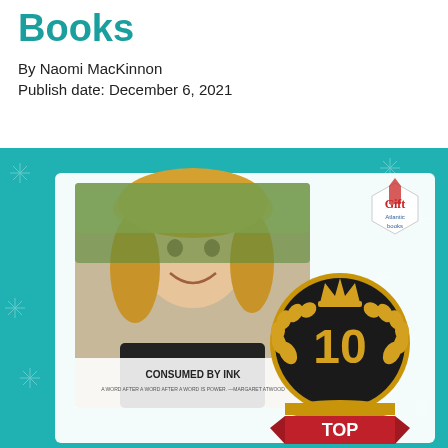Books
By Naomi MacKinnon
Publish date: December 6, 2021
[Figure (photo): Promotional image with teal snowflake background featuring a photo of a smiling woman with long blonde hair, a badge showing '10 TOP', text 'CONSUMED BY INK', and a 'Gift Atlantic Books' hexagon logo in the top right corner.]